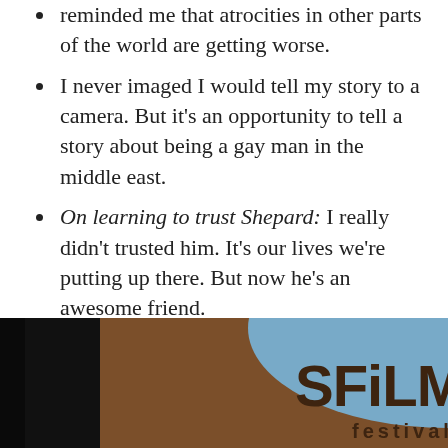reminded me that atrocities in other parts of the world are getting worse.
I never imaged I would tell my story to a camera. But it's an opportunity to tell a story about being a gay man in the middle east.
On learning to trust Shepard: I really didn't trusted him. It's our lives we're putting up there. But now he's an awesome friend.
We want this film to connect with asylum seekers throughout the country. Many of them haven't had LGBTQ refugees yet.
There's always that fear that we might be sent back home.
[Figure (photo): SF Film Festival sign/logo on a brown and blue background, partially visible at bottom of page.]